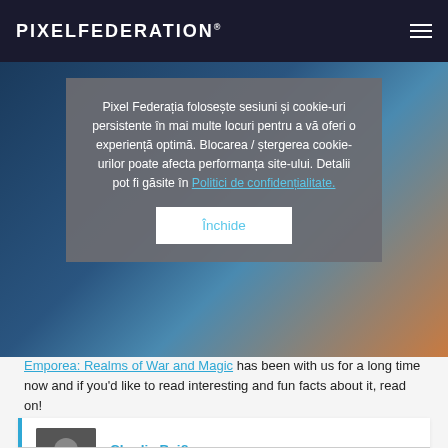PIXELFEDERATION
Pixel Federația folosește sesiuni și cookie-uri persistente în mai multe locuri pentru a vă oferi o experiență optimă. Blocarea / ștergerea cookie-urilor poate afecta performanța site-ului. Detalii pot fi găsite în Politici de confidențialitate.
Închide
Emporea: Realms of War and Magic has been with us for a long time now and if you'd like to read interesting and fun facts about it, read on!
Charlie Beißner
Social Media Manager